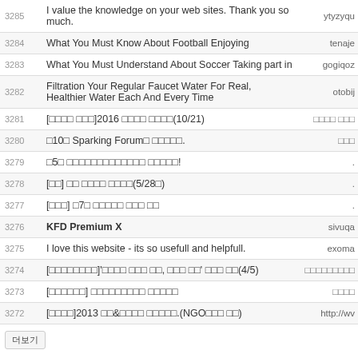| # | Title | Author |
| --- | --- | --- |
| 3285 | I value the knowledge on your web sites. Thank you so much. | ytyzyqu |
| 3284 | What You Must Know About Football Enjoying | tenaje |
| 3283 | What You Must Understand About Soccer Taking part in | gogiqoz |
| 3282 | Filtration Your Regular Faucet Water For Real, Healthier Water Each And Every Time | otobij |
| 3281 | [□□□□ □□□]2016 □□□□ □□□□(10/21) | □□□□ □□□ |
| 3280 | □10□ Sparking Forum□ □□□□□. | □□□ |
| 3279 | □5□ □□□□□□□□□□□□□ □□□□□! | . |
| 3278 | [□□] □□ □□□□ □□□□(5/28□) | . |
| 3277 | [□□□] □7□ □□□□□ □□□ □□ | . |
| 3276 | KFD Premium X | sivuqa |
| 3275 | I love this website - its so usefull and helpfull. | exoma |
| 3274 | [□□□□□□□□]'□□□□ □□□ □□, □□□ □□' □□□ □□(4/5) | □□□□□□□□□ |
| 3273 | [□□□□□□] □□□□□□□□□ □□□□□ | □□□□ |
| 3272 | [□□□□]2013 □□&□□□□ □□□□□.(NGO□□□ □□) | http://wv |
더보기